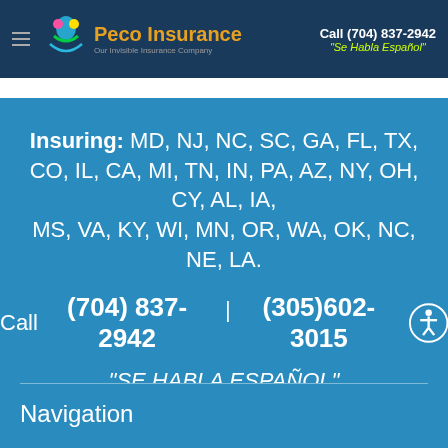Peco Insurance | Call (704) 837-2942 | "Se Habla Español"
Insuring: MD, NJ, NC, SC, GA, FL, TX, CO, IL, CA, MI, TN, IN, PA, AZ, NY, OH, CY, AL, IA, MS, VA, KY, WI, MN, OR, WA, OK, NC, NE, LA.
Call (704) 837-2942 | (305)602-3015
"SE HABLA ESPAÑOL"
Navigation